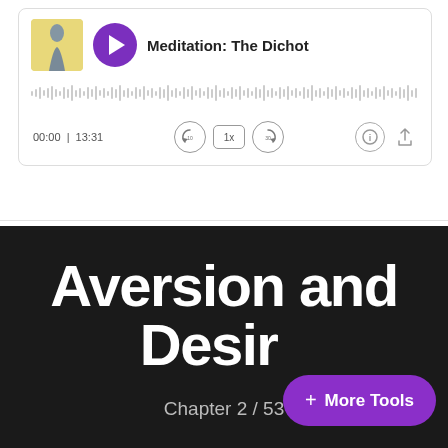[Figure (screenshot): Audio player card showing a meditation podcast episode titled 'Meditation: The Dichot...' with a yellow thumbnail, purple play button, waveform scrubber, time display '00:00 | 13:31', and playback controls (rewind 10, speed 1x, forward 30, info, share).]
Aversion and Desir
Chapter 2 / 53
+ More Tools